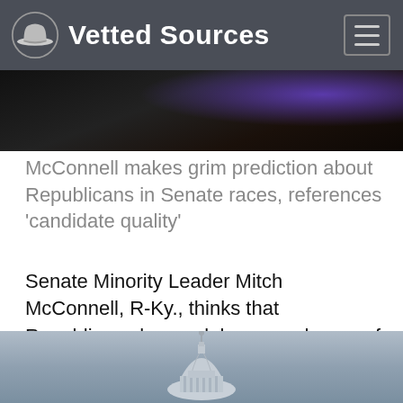Vetted Sources
[Figure (photo): Dark photo strip at top, partially visible, showing hands with purple/blue light in background]
McConnell makes grim prediction about Republicans in Senate races, references 'candidate quality'
Senate Minority Leader Mitch McConnell, R-Ky., thinks that Republicans have a lukewarm chance of flipping the Senate in November, citing "candidate quality" as a factor. Read More.
[Figure (photo): Bottom portion of US Capitol building dome against cloudy sky, with trees visible on the right side]